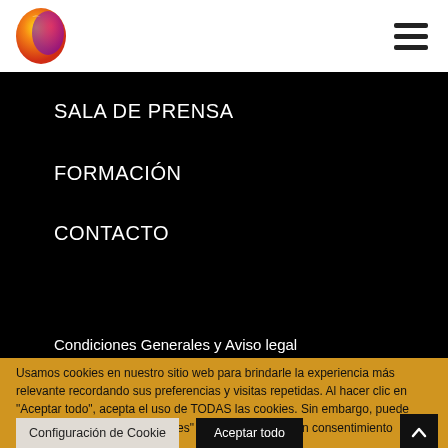[Figure (logo): Colorful spherical logo with red, orange, yellow and purple tones]
SALA DE PRENSA
FORMACIÓN
CONTACTO
Condiciones Generales y Aviso legal
Usamos cookies en nuestro sitio web para brindarle la experiencia más relevante recordando sus preferencias y visitas repetidas. Al hacer clic en "Aceptar todo", acepta el uso de TODAS las cookies. Sin embargo, puede visitar "Configuración de cookies" para proporcionar un consentimiento controlado.
Configuración de Cookie
Aceptar todo